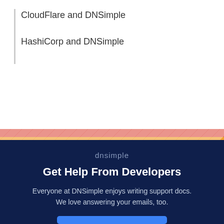CloudFlare and DNSimple
HashiCorp and DNSimple
[Figure (illustration): Decorative diagonal stripe banner in red/coral and yellow/orange colors]
dnsimple
Get Help From Developers
Everyone at DNSimple enjoys writing support docs. We love answering your emails, too.